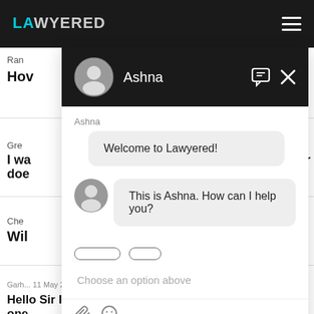[Figure (screenshot): Lawyered website navigation bar with logo and hamburger menu on dark background]
Ran
How
Gre
I wa
doe
Che
Wil
Garh... 11 May 2024, (1 year, 3 months ago)
Hello Sir I live in Jharkhand in village Lagma i have one
[Figure (screenshot): Chat widget overlay from Lawyered showing Ashna avatar, welcome message 'Welcome to Lawyered!', and response 'This is Ashna. How can I help you?' with input placeholder 'Choose an option above']